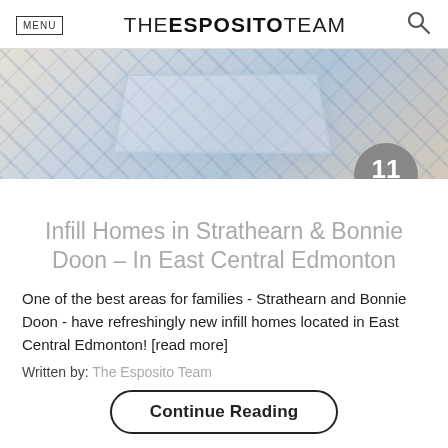MENU | THE ESPOSITO TEAM
[Figure (photo): Interior living room photo showing a glass coffee table on a blue and white patterned rug, with a beige sofa partially visible. Date badge showing '11 MAY' overlaid in a grey circle.]
Infill Homes in Strathearn & Bonnie Doon – In East Central Edmonton
One of the best areas for families - Strathearn and Bonnie Doon - have refreshingly new infill homes located in East Central Edmonton! [read more]
Written by: The Esposito Team
Continue Reading